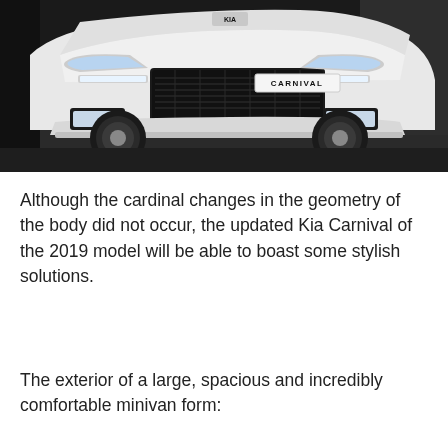[Figure (photo): Front view of a white Kia Carnival minivan with 'CARNIVAL' badge visible on the front grille area, photographed in a dark indoor setting.]
Although the cardinal changes in the geometry of the body did not occur, the updated Kia Carnival of the 2019 model will be able to boast some stylish solutions.
The exterior of a large, spacious and incredibly comfortable minivan form: